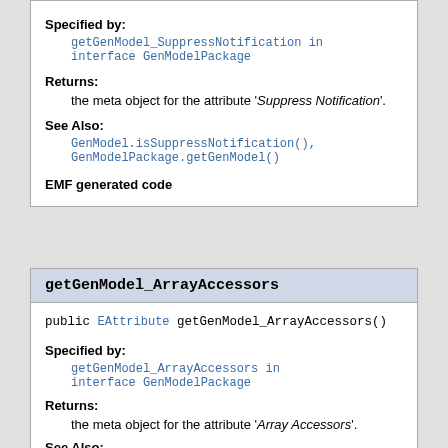Specified by:
getGenModel_SuppressNotification in interface GenModelPackage
Returns:
the meta object for the attribute 'Suppress Notification'.
See Also:
GenModel.isSuppressNotification(), GenModelPackage.getGenModel()
EMF generated code
getGenModel_ArrayAccessors
public EAttribute getGenModel_ArrayAccessors()
Specified by:
getGenModel_ArrayAccessors in interface GenModelPackage
Returns:
the meta object for the attribute 'Array Accessors'.
See Also: